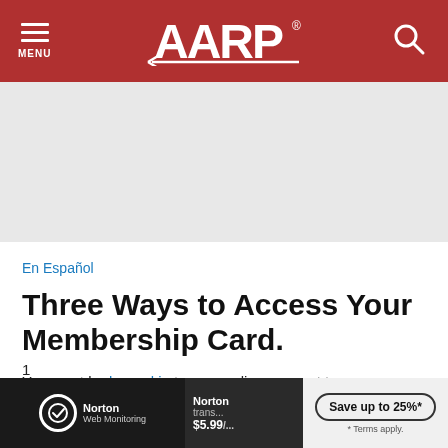AARP — MENU / Search header
En Español
Three Ways to Access Your Membership Card.
You must be logged in to your online account to access your (or your household member) card for all options listed below.
Don't have an online account yet? Create one here
[Figure (screenshot): Norton Web Monitoring advertisement banner with logo, 'Save up to 25%*' button, and pricing $5.99]